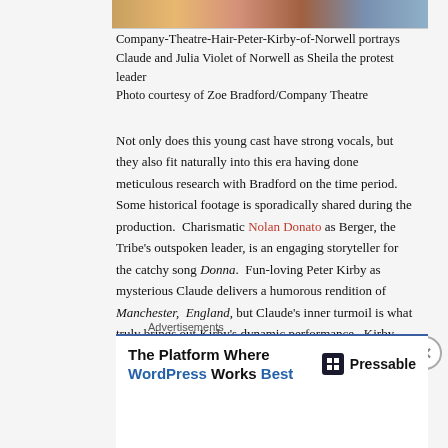[Figure (photo): Partial view of photo showing theatre performers, cropped at top]
Company-Theatre-Hair-Peter-Kirby-of-Norwell portrays Claude and Julia Violet of Norwell as Sheila the protest leader Photo courtesy of Zoe Bradford/Company Theatre
Not only does this young cast have strong vocals, but they also fit naturally into this era having done meticulous research with Bradford on the time period.  Some historical footage is sporadically shared during the production.  Charismatic Nolan Donato as Berger, the Tribe’s outspoken leader, is an engaging storyteller for the catchy song Donna.  Fun-loving Peter Kirby as mysterious Claude delivers a humorous rendition of Manchester, England, but Claude’s inner turmoil is what truly brings out Kirby’s dynamic performance.  Kirby
Advertisements
[Figure (screenshot): Advertisement: The Platform Where WordPress Works Best - Pressable]